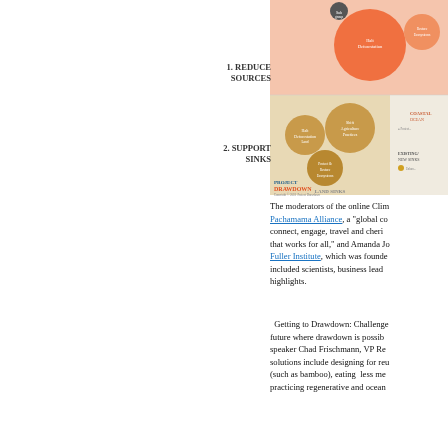[Figure (infographic): Project Drawdown diagram showing two strategies: 1. Reduce Sources (top, salmon/orange circles) and 2. Support Sinks (bottom, tan/brown circles with land and ocean categories). Labels include Halt Deforestation, Restore Ecosystems, Shift Agriculture Practices, Protect/Restore Ecosystems, Coastal/Ocean sinks, and Existing/New Sinks.]
The moderators of the online Clim… Pachamama Alliance, a "global co… connect, engage, travel and cheri… that works for all," and Amanda Jo… Fuller Institute, which was founde… included scientists, business lead… highlights.
Getting to Drawdown: Challenge… future where drawdown is possib… speaker Chad Frischmann, VP Re… solutions include designing for reu… (such as bamboo), eating less me… practicing regenerative and ocean…